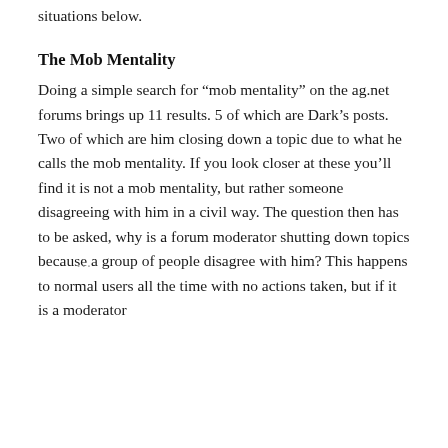situations below.
The Mob Mentality
Doing a simple search for “mob mentality” on the ag.net forums brings up 11 results. 5 of which are Dark’s posts. Two of which are him closing down a topic due to what he calls the mob mentality. If you look closer at these you’ll find it is not a mob mentality, but rather someone disagreeing with him in a civil way. The question then has to be asked, why is a forum moderator shutting down topics because a group of people disagree with him? This happens to normal users all the time with no actions taken, but if it is a moderator